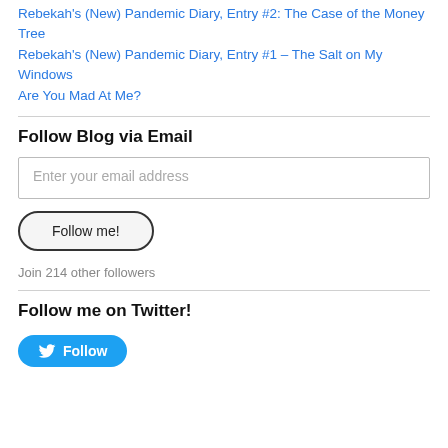Rebekah's (New) Pandemic Diary, Entry #2: The Case of the Money Tree
Rebekah's (New) Pandemic Diary, Entry #1 – The Salt on My Windows
Are You Mad At Me?
Follow Blog via Email
Enter your email address
Follow me!
Join 214 other followers
Follow me on Twitter!
Follow